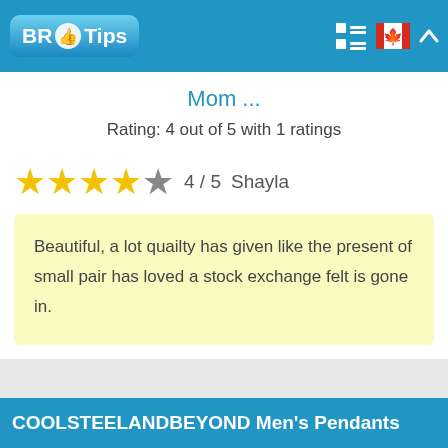BR Tips [logo/navigation header]
Mom ...
Rating: 4 out of 5 with 1 ratings
★★★★☆  4 / 5  Shayla
Beautiful, a lot quailty has given like the present of small pair has loved a stock exchange felt is gone in.
COOLSTEELANDBEYOND Men's Pendants